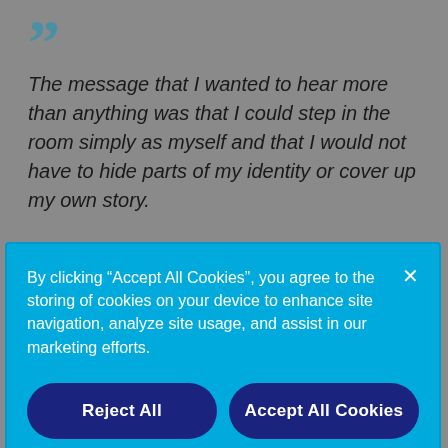“The message that I wanted to hear more than anything was that I could step in the room simply as myself and that I would not have to hide parts of my identity or cover up my own story.
My teacher encouraged me and helped me think
By clicking “Accept All Cookies”, you agree to the storing of cookies on your device to enhance site navigation, analyze site usage, and assist in our marketing efforts.
Reject All
Accept All Cookies
Cookies Settings